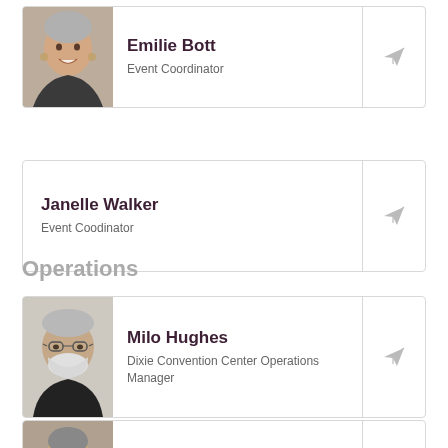[Figure (photo): Profile photo of Emilie Bott, a woman with short gray hair, smiling]
Emilie Bott
Event Coordinator
[Figure (illustration): Paper plane / send icon]
Janelle Walker
Event Coodinator
[Figure (illustration): Paper plane / send icon]
Operations
[Figure (photo): Profile photo of Milo Hughes, an older man with glasses and white beard]
Milo Hughes
Dixie Convention Center Operations
Manager
[Figure (illustration): Paper plane / send icon]
[Figure (photo): Partially visible profile photo at bottom of page]